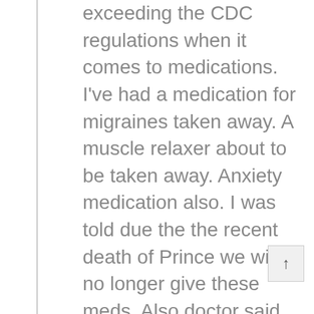exceeding the CDC regulations when it comes to medications. I've had a medication for migraines taken away. A muscle relaxer about to be taken away. Anxiety medication also. I was told due the the recent death of Prince we will no longer give these meds. Also doctor said he has to look out for his family , because on ladies family brought a lawsuit after she injected 30 pills into her IV port and died. I've been a patient of chronic pain for fifteen year's without addiction issues. He then stuck the dagger in by calling me a model patient. My friend needs two surgeries on her spine. The surgeon refused her any medication before surgery. He told her the CDC says opioids lead to heroin addiction. He will however give her these same medications after surgery. I've been treated like an addict for year's without